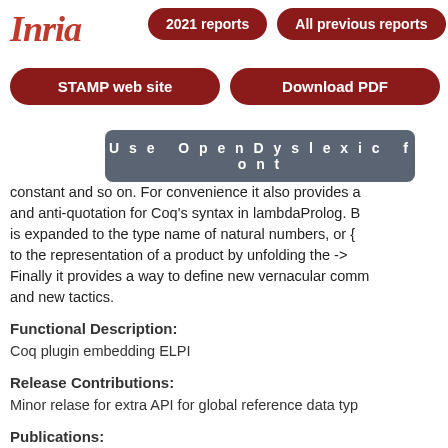[Figure (logo): Inria logo in red italic script]
2021 reports | All previous reports | STAMP web site | Download PDF | Use OpenDyslexic font
constant and so on. For convenience it also provides a and anti-quotation for Coq's syntax in lambdaProlog. is expanded to the type name of natural numbers, or { to the representation of a product by unfolding the -> Finally it provides a way to define new vernacular comm and new tactics.
Functional Description:
Coq plugin embedding ELPI
Release Contributions:
Minor relase for extra API for global reference data typ
Publications:
hal-01897468, hal-01637063
Contact:
Enrico Tassi